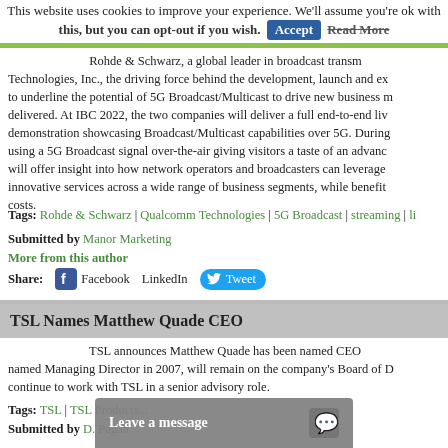This website uses cookies to improve your experience. We'll assume you're ok with this, but you can opt-out if you wish. Accept Read More
Rohde & Schwarz, a global leader in broadcast transm... Technologies, Inc., the driving force behind the development, launch and ex... to underline the potential of 5G Broadcast/Multicast to drive new business m... delivered. At IBC 2022, the two companies will deliver a full end-to-end liv... demonstration showcasing Broadcast/Multicast capabilities over 5G. During... using a 5G Broadcast signal over-the-air giving visitors a taste of an advance... will offer insight into how network operators and broadcasters can leverage... innovative services across a wide range of business segments, while benefitt... costs.
Tags: Rohde & Schwarz | Qualcomm Technologies | 5G Broadcast | streaming | li...
Submitted by Manor Marketing
More from this author
Share: Facebook LinkedIn Tweet
TSL Names Matthew Quade CEO
TSL announces Matthew Quade has been named CEO... named Managing Director in 2007, will remain on the company's Board of D... continue to work with TSL in a senior advisory role.
Tags: TSL | TSL Products...
Submitted by D. Pagan
Leave a message